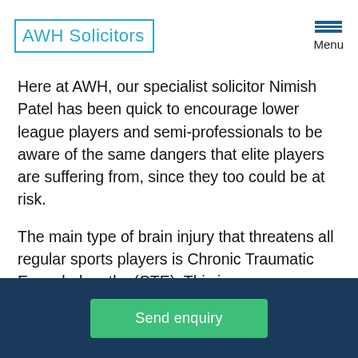AWH Solicitors
Here at AWH, our specialist solicitor Nimish Patel has been quick to encourage lower league players and semi-professionals to be aware of the same dangers that elite players are suffering from, since they too could be at risk.
The main type of brain injury that threatens all regular sports players is Chronic Traumatic Encephalopathy (CTE). This is a neurodegenerative disease which is now known to leave former players with irreparable brain damage as a result of repeated head injuries. A number of cases that had
Send enquiry